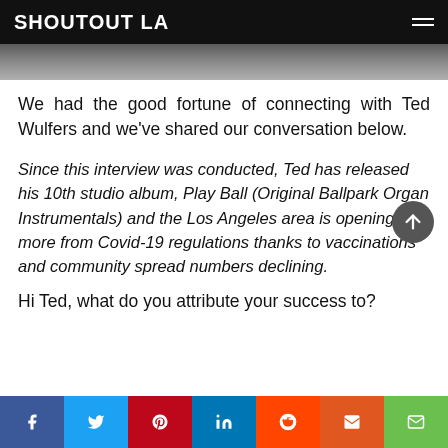SHOUTOUT LA
[Figure (photo): Partial view of a black and white photograph strip at the top of the page]
We had the good fortune of connecting with Ted Wulfers and we've shared our conversation below.
Since this interview was conducted, Ted has released his 10th studio album, Play Ball (Original Ballpark Organ Instrumentals) and the Los Angeles area is opening up more from Covid-19 regulations thanks to vaccinations and community spread numbers declining.
Hi Ted, what do you attribute your success to?
f  t  p  in  reddit  m  email